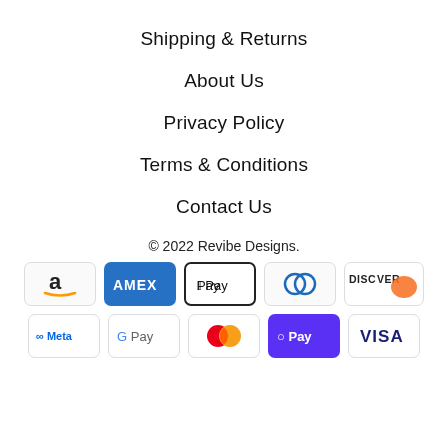Shipping & Returns
About Us
Privacy Policy
Terms & Conditions
Contact Us
© 2022 Revibe Designs.
[Figure (other): Payment method icons: Amazon, Amex, Apple Pay, Diners Club, Discover, Meta Pay, Google Pay, Mastercard, Shop Pay, Visa]